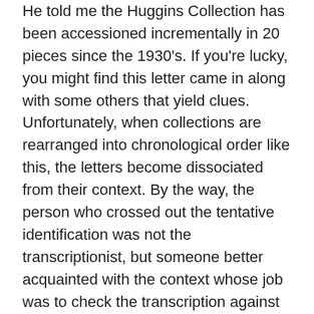He told me the Huggins Collection has been accessioned incrementally in 20 pieces since the 1930's. If you're lucky, you might find this letter came in along with some others that yield clues. Unfortunately, when collections are rearranged into chronological order like this, the letters become dissociated from their context. By the way, the person who crossed out the tentative identification was not the transcriptionist, but someone better acquainted with the context whose job was to check the transcription against the original. Many of the letters transcribed as part of the Northwest Missions Manuscripts Collection –copies of the typescripts were left in or deposited in the host collection like the Huggins Papers –are marked and corrected in